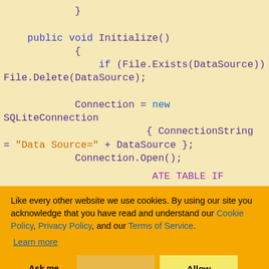Code snippet showing C# SQLite connection with Initialize() method and SQL commands
Cookie banner overlay: 'Like every other website we use cookies. By using our site you acknowledge that you have read and understand our Cookie Policy, Privacy Policy, and our Terms of Service. Learn more' with buttons: Ask me later, Decline, Allow cookies